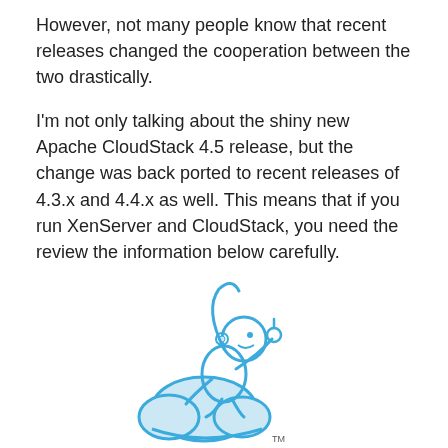However, not many people know that recent releases changed the cooperation between the two drastically.
I'm not only talking about the shiny new Apache CloudStack 4.5 release, but the change was back ported to recent releases of 4.3.x and 4.4.x as well. This means that if you run XenServer and CloudStack, you need the review the information below carefully.
[Figure (logo): Apache CloudStack logo — a cartoon monkey sitting on a cloud, drawn in blue outline style, with a thumbs-up gesture. A small 'TM' mark appears at the bottom right.]
I can understand why almost nobody knows, because this was not well discussed and did not end up in the release notes nor documentation either. I talked to many people